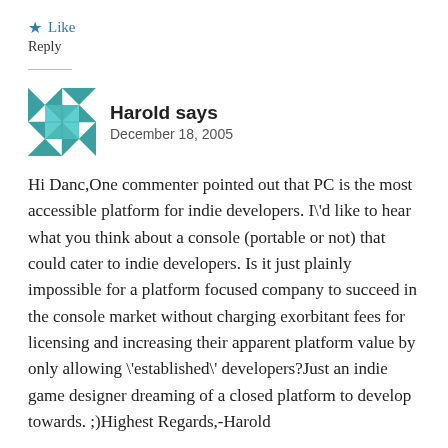★ Like
Reply
Harold says
December 18, 2005
Hi Danc,One commenter pointed out that PC is the most accessible platform for indie developers. I\'d like to hear what you think about a console (portable or not) that could cater to indie developers. Is it just plainly impossible for a platform focused company to succeed in the console market without charging exorbitant fees for licensing and increasing their apparent platform value by only allowing \'established\' developers?Just an indie game designer dreaming of a closed platform to develop towards. ;)Highest Regards,-Harold